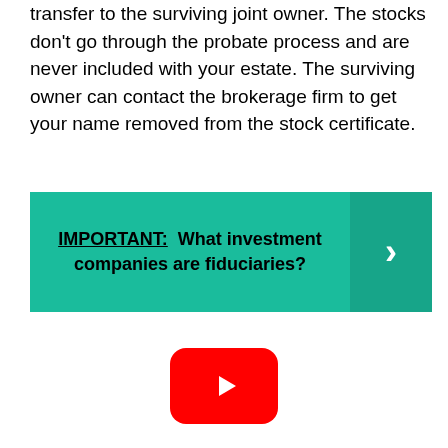When you die, the stocks immediately transfer to the surviving joint owner. The stocks don't go through the probate process and are never included with your estate. The surviving owner can contact the brokerage firm to get your name removed from the stock certificate.
[Figure (infographic): Teal/green callout box with bold text: 'IMPORTANT: What investment companies are fiduciaries?' with a right-arrow chevron on the right side in a darker teal panel.]
[Figure (logo): YouTube play button logo: red rounded rectangle with white triangle play icon.]